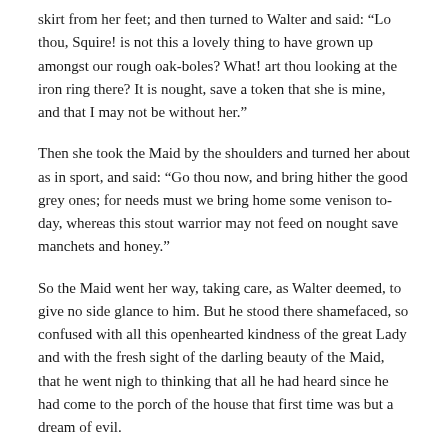skirt from her feet; and then turned to Walter and said: “Lo thou, Squire! is not this a lovely thing to have grown up amongst our rough oak-boles? What! art thou looking at the iron ring there? It is nought, save a token that she is mine, and that I may not be without her.”
Then she took the Maid by the shoulders and turned her about as in sport, and said: “Go thou now, and bring hither the good grey ones; for needs must we bring home some venison to-day, whereas this stout warrior may not feed on nought save manchets and honey.”
So the Maid went her way, taking care, as Walter deemed, to give no side glance to him. But he stood there shamefaced, so confused with all this openhearted kindness of the great Lady and with the fresh sight of the darling beauty of the Maid, that he went nigh to thinking that all he had heard since he had come to the porch of the house that first time was but a dream of evil.